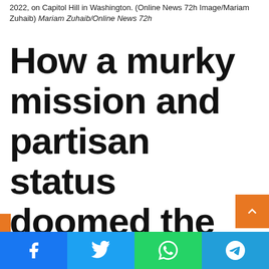2022, on Capitol Hill in Washington. (Online News 72h Image/Mariam Zuhaib) Mariam Zuhaib/Online News 72h
How a murky mission and partisan status doomed the DHS disinformation board